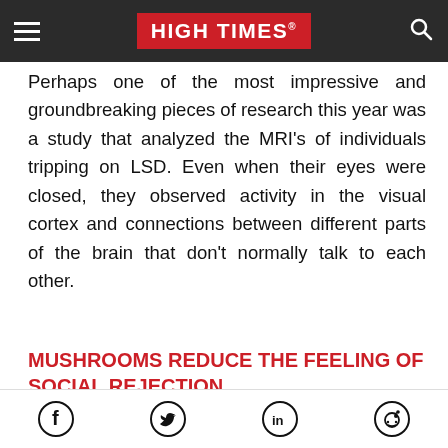HIGH TIMES
Perhaps one of the most impressive and groundbreaking pieces of research this year was a study that analyzed the MRI’s of individuals tripping on LSD. Even when their eyes were closed, they observed activity in the visual cortex and connections between different parts of the brain that don’t normally talk to each other.
MUSHROOMS REDUCE THE FEELING OF SOCIAL REJECTION
[Figure (photo): Close-up photo of multiple mushrooms with dark caps against a blue background]
Facebook Twitter LinkedIn Reddit social share icons